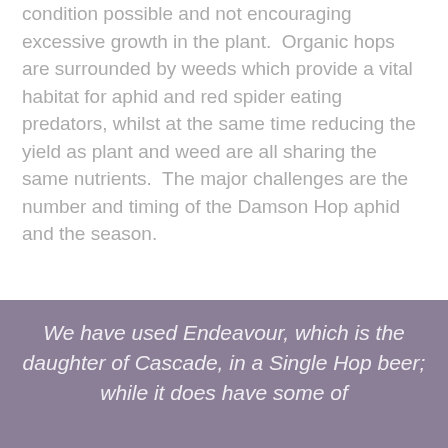condition possible and not encouraging excessive growth in the plant.  Organic hops are surrounded by weeds which provide a vital habitat for aphid and red spider eating predators, whilst at the same time reducing the yield as plant and weed are all sharing the same nutrients.  The major challenges are the number and timing of the Damson Hop aphid and the season.
We have used Endeavour, which is the daughter of Cascade, in a Single Hop beer; while it does have some of